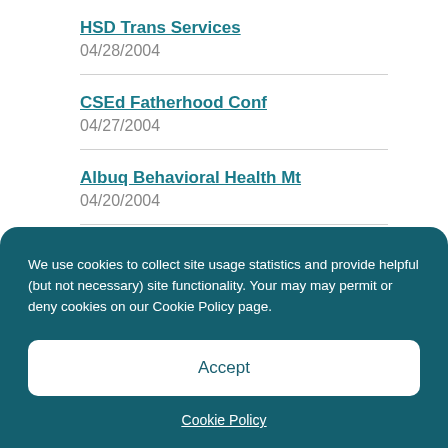HSD Trans Services
04/28/2004
CSEd Fatherhood Conf
04/27/2004
Albuq Behavioral Health Mt
04/20/2004
Farmington Behavioral Health Mtg
We use cookies to collect site usage statistics and provide helpful (but not necessary) site functionality. Your may may permit or deny cookies on our Cookie Policy page.
Accept
Cookie Policy